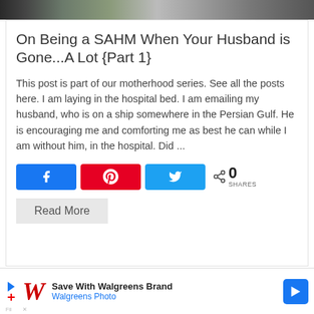[Figure (photo): Partial top image strip showing food/table scene]
On Being a SAHM When Your Husband is Gone...A Lot {Part 1}
This post is part of our motherhood series. See all the posts here. I am laying in the hospital bed. I am emailing my husband, who is on a ship somewhere in the Persian Gulf. He is encouraging me and comforting me as best he can while I am without him, in the hospital. Did ...
[Figure (infographic): Social share buttons: Facebook, Pinterest, Twitter, and share count showing 0 SHARES]
Read More
[Figure (infographic): Walgreens advertisement banner: Save With Walgreens Brand, Walgreens Photo]